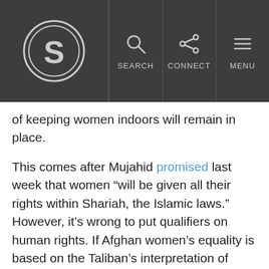Snopes logo with SEARCH, CONNECT, MENU navigation
of keeping women indoors will remain in place.
This comes after Mujahid promised last week that women “will be given all their rights within Shariah, the Islamic laws.” However, it’s wrong to put qualifiers on human rights. If Afghan women’s equality is based on the Taliban’s interpretation of Shariah law, then they are not truly equal at all. The women who remember life under the Taliban’s control of Afghanistan from 1996 to 2001 know this better than anyone.
Previously under Taliban rule, women could not work outside the home in most instances, leave the house without a male guardian, or receive a proper